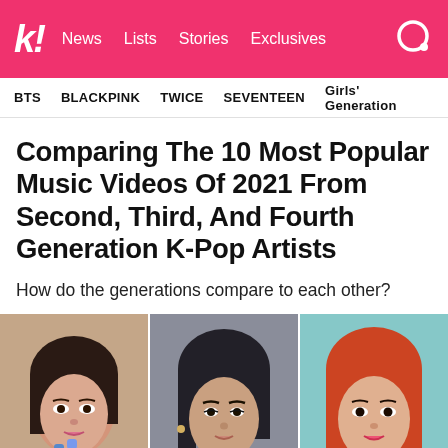k! News Lists Stories Exclusives
BTS  BLACKPINK  TWICE  SEVENTEEN  Girls' Generation
Comparing The 10 Most Popular Music Videos Of 2021 From Second, Third, And Fourth Generation K-Pop Artists
How do the generations compare to each other?
[Figure (photo): Three K-Pop artists shown side by side: a female artist on the left with dark hair, a male artist in the center with dark hair, and a female artist on the right with red/orange hair.]